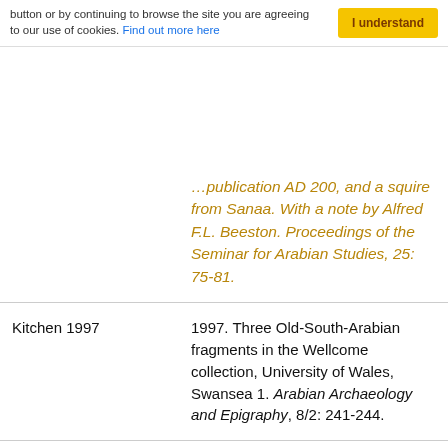button or by continuing to browse the site you are agreeing to our use of cookies. Find out more here
|  | ...publication AD 200, and a squire from Sanaa. With a note by Alfred F.L. Beeston. Proceedings of the Seminar for Arabian Studies, 25: 75-81. |
| Kitchen 1997 | 1997. Three Old-South-Arabian fragments in the Wellcome collection, University of Wales, Swansea 1. Arabian Archaeology and Epigraphy, 8/2: 241-244. |
| Kitchen 1998 | 1998. Three unusual Sabaean inscriptions in bronze. Proceedings of the Seminar for Arabian Studies, 28: 149-157. |
| Kitchen 1998 a | 1998. Three Sabaean |